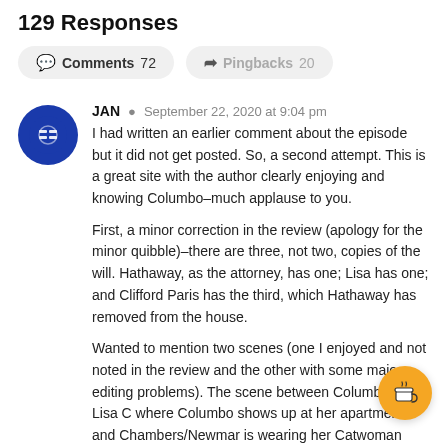129 Responses
Comments 72   Pingbacks 20
JAN  September 22, 2020 at 9:04 pm
I had written an earlier comment about the episode but it did not get posted. So, a second attempt. This is a great site with the author clearly enjoying and knowing Columbo–much applause to you.

First, a minor correction in the review (apology for the minor quibble)–there are three, not two, copies of the will. Hathaway, as the attorney, has one; Lisa has one; and Clifford Paris has the third, which Hathaway has removed from the house.

Wanted to mention two scenes (one I enjoyed and not noted in the review and the other with some major editing problems). The scene between Columbo and Lisa C where Columbo shows up at her apartment and Chambers/Newmar is wearing her Catwoman outfit on the